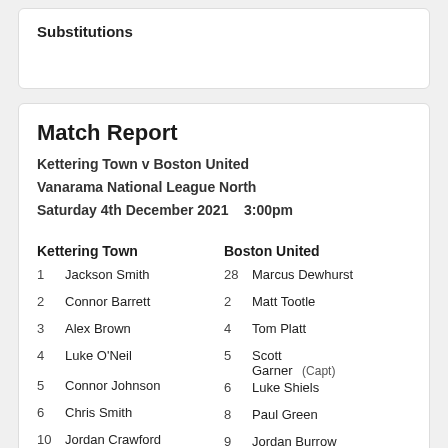Substitutions
Match Report
Kettering Town v Boston United
Vanarama National League North
Saturday 4th December 2021    3:00pm
| # | Kettering Town | # | Boston United |
| --- | --- | --- | --- |
| 1 | Jackson Smith | 28 | Marcus Dewhurst |
| 2 | Connor Barrett | 2 | Matt Tootle |
| 3 | Alex Brown | 4 | Tom Platt |
| 4 | Luke O'Neil | 5 | Scott Garner (Capt) |
| 5 | Connor Johnson | 6 | Luke Shiels |
| 6 | Chris Smith | 8 | Paul Green |
| 10 | Jordan Crawford | 9 | Jordan Burrow |